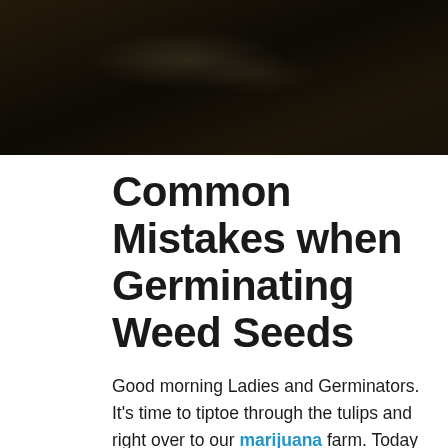[Figure (photo): Dark close-up photo, likely of seeds or plant material on a dark background]
Common Mistakes when Germinating Weed Seeds
Good morning Ladies and Germinators. It's time to tiptoe through the tulips and right over to our marijuana farm. Today we are germinating our seeds in the hopes of a robust harvest. But to do that, we must take meticulous care or our yield could be disappointing.
There's quite a bit to learn to be a successful farmer. For example, where does it all begin? What